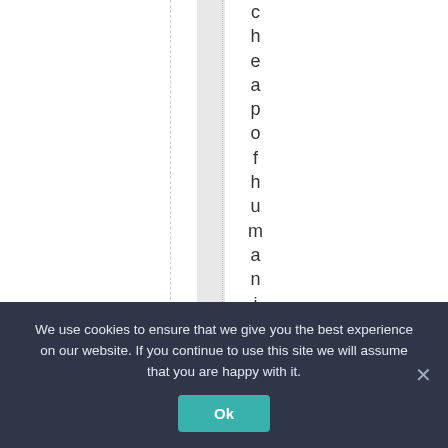cheapofhumanity in th
We use cookies to ensure that we give you the best experience on our website. If you continue to use this site we will assume that you are happy with it.